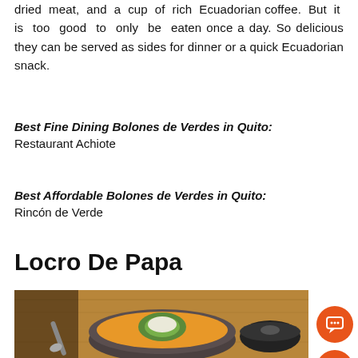dried meat, and a cup of rich Ecuadorian coffee. But it is too good to only be eaten once a day. So delicious they can be served as sides for dinner or a quick Ecuadorian snack.
Best Fine Dining Bolones de Verdes in Quito: Restaurant Achiote
Best Affordable Bolones de Verdes in Quito: Rincón de Verde
Locro De Papa
[Figure (photo): A bowl of Locro de Papa soup with avocado and cheese garnish on a wooden board, with a spoon and dark lid visible. Orange chat and scroll-to-top buttons overlay the bottom right.]